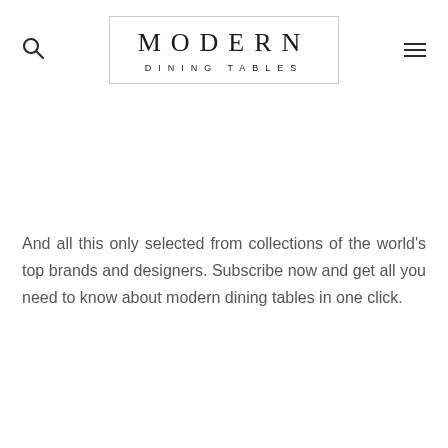[Figure (logo): Modern Dining Tables logo in a bordered box with search and menu icons on either side]
And all this only selected from collections of the world's top brands and designers. Subscribe now and get all you need to know about modern dining tables in one click.